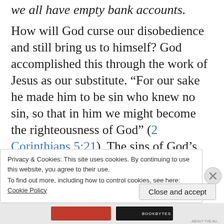we all have empty bank accounts.
How will God curse our disobedience and still bring us to himself? God accomplished this through the work of Jesus as our substitute. “For our sake he made him to be sin who knew no sin, so that in him we might become the righteousness of God” (2 Corinthians 5:21). The sins of God’s people were put on Jesus at the cross, and, in the pattern of so many Old Testament sacrifices, Jesus offered himself. “And by that will we have been sanctified
Privacy & Cookies: This site uses cookies. By continuing to use this website, you agree to their use.
To find out more, including how to control cookies, see here: Cookie Policy
Close and accept